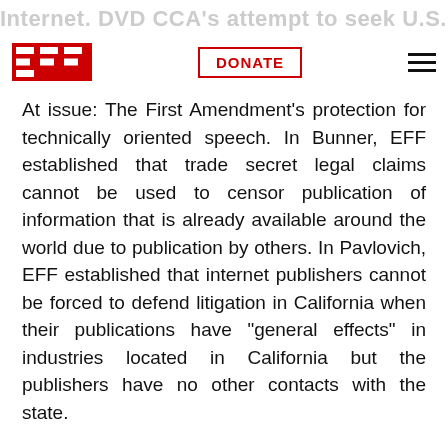Internet. DVD CCA's attempt to seek U.S. Supreme Court review of the decision was rejected.
At issue: The First Amendment's protection for technically oriented speech. In Bunner, EFF established that trade secret legal claims cannot be used to censor publication of information that is already available around the world due to publication by others. In Pavlovich, EFF established that internet publishers cannot be forced to defend litigation in California when their publications have "general effects" in industries located in California but the publishers have no other contacts with the state.
EFF's role: Pay for costs, serve as co-counsel and coordinate the defense of this case.